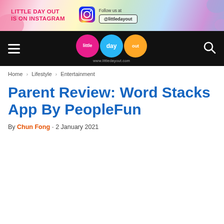[Figure (screenshot): Little Day Out Instagram banner ad with pink/colorful gradient background, Instagram icon, and @littledayout handle box]
[Figure (logo): Little Day Out website navigation bar with hamburger menu, colored circle logo (little day out), www.littledayout.com URL, and search icon]
Home › Lifestyle › Entertainment
Parent Review: Word Stacks App By PeopleFun
By Chun Fong - 2 January 2021